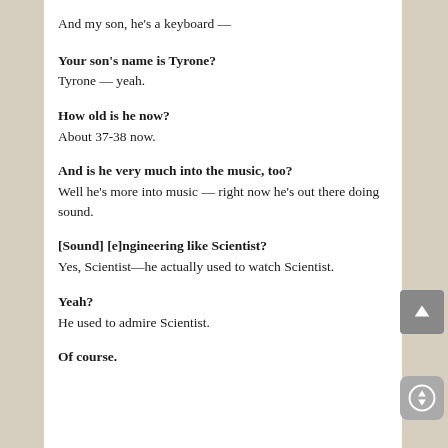And my son, he's a keyboard —
Your son's name is Tyrone?
Tyrone — yeah.
How old is he now?
About 37-38 now.
And is he very much into the music, too?
Well he's more into music — right now he's out there doing sound.
[Sound] [e]ngineering like Scientist?
Yes, Scientist—he actually used to watch Scientist.
Yeah?
He used to admire Scientist.
Of course.